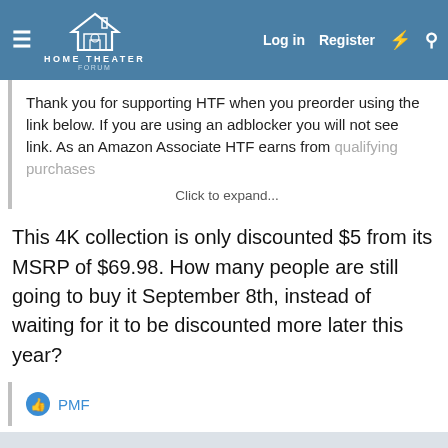HOME THEATER FORUM — Log in  Register
Thank you for supporting HTF when you preorder using the link below. If you are using an adblocker you will not see link. As an Amazon Associate HTF earns from qualifying purchases
Click to expand...
This 4K collection is only discounted $5 from its MSRP of $69.98. How many people are still going to buy it September 8th, instead of waiting for it to be discounted more later this year?
PMF